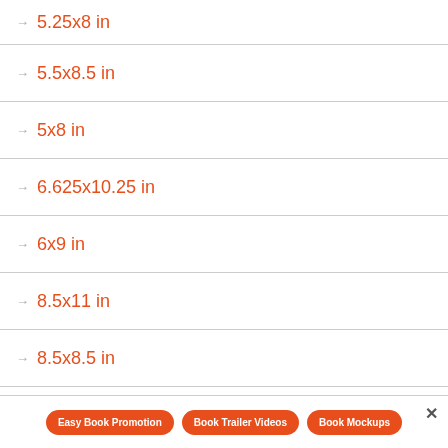5.25x8 in
5.5x8.5 in
5x8 in
6.625x10.25 in
6x9 in
8.5x11 in
8.5x8.5 in